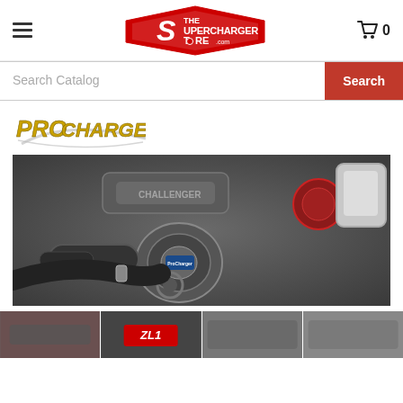[Figure (logo): The Supercharger Store .com logo in red diamond/shield shape with stylized S]
[Figure (other): Hamburger menu icon (three horizontal lines)]
[Figure (other): Shopping cart icon with 0 count]
Search Catalog
Search
[Figure (logo): ProCharger brand logo in gold/yellow italic lettering with chrome swoosh]
[Figure (photo): Close-up engine bay photo showing ProCharger supercharger installation with black intake tubes, centrifugal supercharger, red air filter, and chrome/silver components]
[Figure (photo): Bottom row of smaller thumbnail product/vehicle images, partially visible]